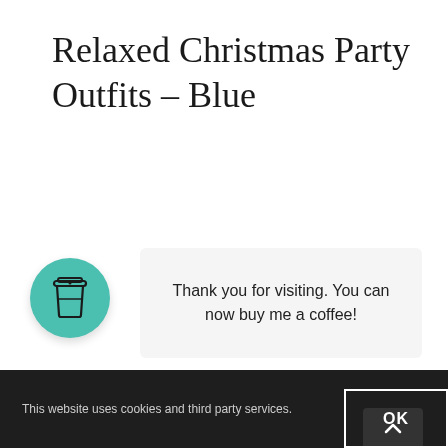Relaxed Christmas Party Outfits – Blue
[Figure (illustration): Teal/mint circular icon with a takeaway coffee cup illustration in dark outline style, serving as a 'buy me a coffee' widget button.]
Thank you for visiting. You can now buy me a coffee!
This website uses cookies and third party services.   OK